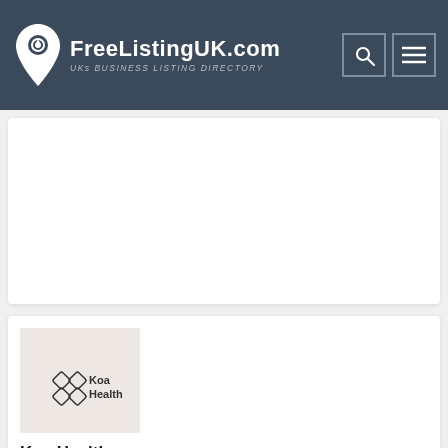FreeListingUK.com — UKs BUSINESS LISTING DIRECTORY
[Figure (logo): Koa Health business logo on beige background — diamond grid symbol with 'Koa Health' text]
Koa Health